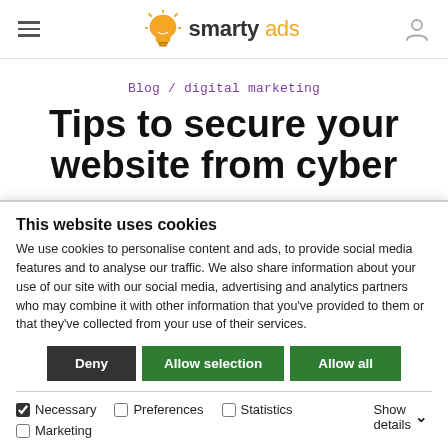smartyads (logo/navigation header)
Blog / digital marketing
Tips to secure your website from cyber
This website uses cookies
We use cookies to personalise content and ads, to provide social media features and to analyse our traffic. We also share information about your use of our site with our social media, advertising and analytics partners who may combine it with other information that you've provided to them or that they've collected from your use of their services.
Deny | Allow selection | Allow all
Necessary | Preferences | Statistics | Marketing | Show details